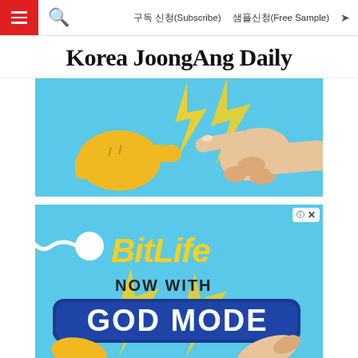구독 신청(Subscribe)   샘플신청(Free Sample)
Korea JoongAng Daily
[Figure (illustration): Advertisement banner showing two hands reaching toward each other (parody of Michelangelo's Creation of Adam) — one is a yellow cartoon thumbs-up emoji hand, the other is a realistic human hand — on a bright blue background with yellow lightning bolts.]
[Figure (illustration): BitLife mobile game advertisement on blue background. Shows a sperm cell icon, large yellow text 'BitLife', black text 'NOW WITH', and a dark blue rounded rectangle badge with white bold text 'GOD MODE', with yellow lightning bolts and illustrated hands.]